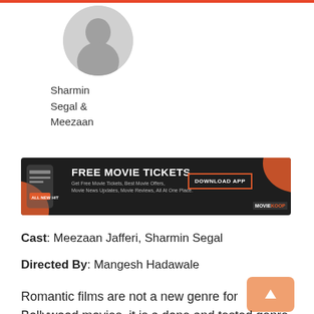[Figure (illustration): Circular grey avatar/profile placeholder silhouette icon]
Sharmin Segal & Meezaan
[Figure (infographic): Dark advertisement banner: FREE MOVIE TICKETS - Get Free Movie Tickets, Best Movie Offers, Movie News Updates, Movie Reviews, All At One Place. Download App button. MovieKoop logo.]
Cast: Meezaan Jafferi, Sharmin Segal
Directed By: Mangesh Hadawale
Romantic films are not a new genre for Bollywood movies, it is a done and tested genre